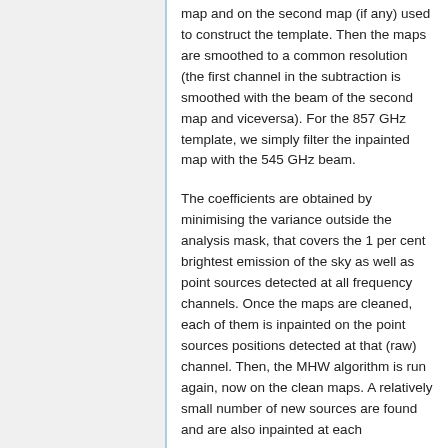map and on the second map (if any) used to construct the template. Then the maps are smoothed to a common resolution (the first channel in the subtraction is smoothed with the beam of the second map and viceversa). For the 857 GHz template, we simply filter the inpainted map with the 545 GHz beam.
The coefficients are obtained by minimising the variance outside the analysis mask, that covers the 1 per cent brightest emission of the sky as well as point sources detected at all frequency channels. Once the maps are cleaned, each of them is inpainted on the point sources positions detected at that (raw) channel. Then, the MHW algorithm is run again, now on the clean maps. A relatively small number of new sources are found and are also inpainted at each